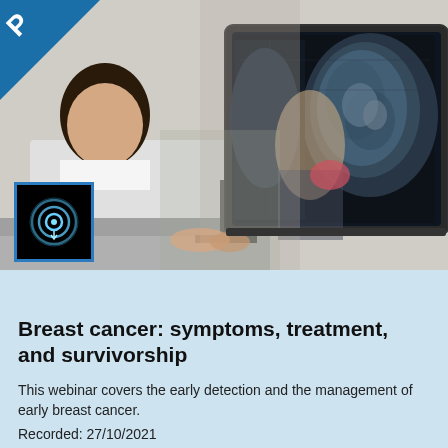[Figure (photo): Medical professional in white coat sitting at a computer workstation displaying a mammogram/breast imaging scan on monitor, with a patient visible in the background undergoing imaging procedure. A blue diagonal ribbon banner appears in the top-left corner.]
On-demand
Breast cancer: symptoms, treatment, and survivorship
This webinar covers the early detection and the management of early breast cancer.
Recorded: 27/10/2021